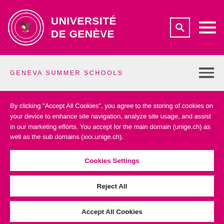UNIVERSITÉ DE GENÈVE
GENEVA SUMMER SCHOOLS
By clicking "Accept All Cookies", you agree to the storing of cookies on your device to enhance site navigation, analyze site usage, and assist in our marketing efforts. You accept for the main domain (unige.ch) as well as the sub domains (xxx.unige.ch).
Cookies Settings
Reject All
Accept All Cookies